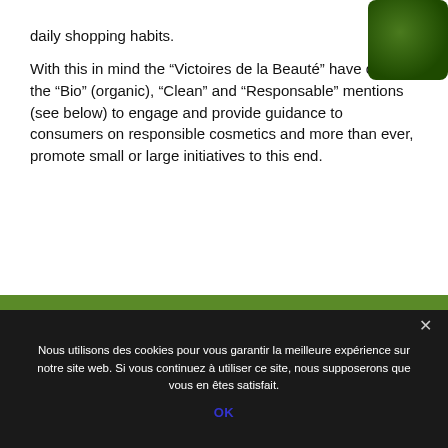daily shopping habits.
With this in mind the “Victoires de la Beauté” have created the “Bio” (organic), “Clean” and “Responsable” mentions (see below) to engage and provide guidance to consumers on responsible cosmetics and more than ever, promote small or large initiatives to this end.
[Figure (photo): Green cosmetic bottle/jar partially visible in top-right corner]
Nous utilisons des cookies pour vous garantir la meilleure expérience sur notre site web. Si vous continuez à utiliser ce site, nous supposerons que vous en êtes satisfait.
OK